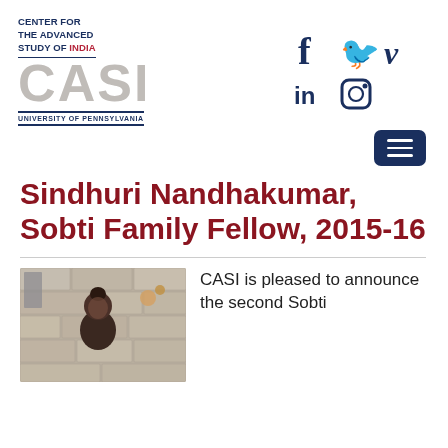[Figure (logo): CASI - Center for the Advanced Study of India, University of Pennsylvania logo with gray CASI letters and dark blue text]
[Figure (infographic): Social media icons: Facebook (f), Twitter (bird), Vimeo (V), LinkedIn (in), Instagram (camera)]
[Figure (infographic): Hamburger menu button (three horizontal lines) on dark blue background]
Sindhuri Nandhakumar, Sobti Family Fellow, 2015-16
[Figure (photo): Photo of Sindhuri Nandhakumar, a young woman with dark hair up, against a stone wall background with decorative elements]
CASI is pleased to announce the second Sobti